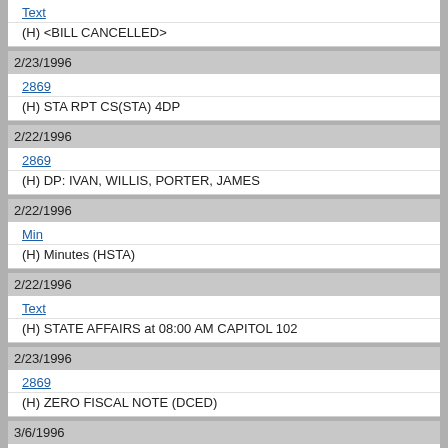Text
(H) <BILL CANCELLED>
2/23/1996
2869
(H) STA RPT CS(STA) 4DP
2/22/1996
2869
(H) DP: IVAN, WILLIS, PORTER, JAMES
2/22/1996
Min
(H) Minutes (HSTA)
2/22/1996
Text
(H) STATE AFFAIRS at 08:00 AM CAPITOL 102
2/23/1996
2869
(H) ZERO FISCAL NOTE (DCED)
3/6/1996
Min
(H) Minutes (HJUD)
3/6/1996